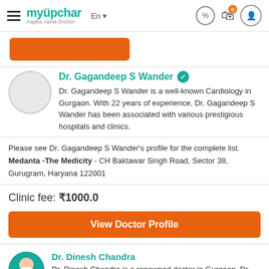myUpchar - Aapka Apna Doctor | En | navigation icons
[Figure (screenshot): Orange button placeholder at top]
Dr. Gagandeep S Wander is a well-known Cardiology in Gurgaon. With 22 years of experience, Dr. Gagandeep S Wander has been associated with various prestigious hospitals and clinics.
Please see Dr. Gagandeep S Wander's profile for the complete list. Medanta -The Medicity - CH Baktawar Singh Road, Sector 38, Gurugram, Haryana 122001
Clinic fee: ₹1000.0
View Doctor Profile
Dr. Dinesh Chandra
Dr. Dinesh Chandra is a renowned doctor in Gurgaon. Dr.